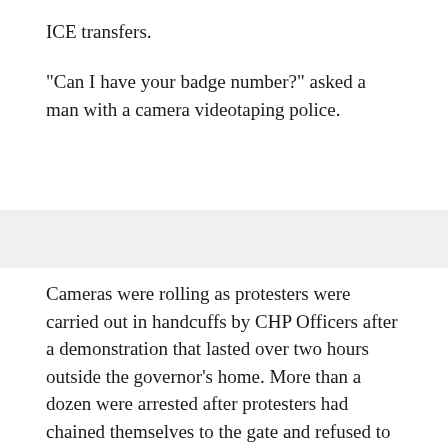ICE transfers.
"Can I have your badge number?" asked a man with a camera videotaping police.
Cameras were rolling as protesters were carried out in handcuffs by CHP Officers after a demonstration that lasted over two hours outside the governor's home. More than a dozen were arrested after protesters had chained themselves to the gate and refused to leave.
Officers dressed in riot gear gave the group three separate orders to disperse.